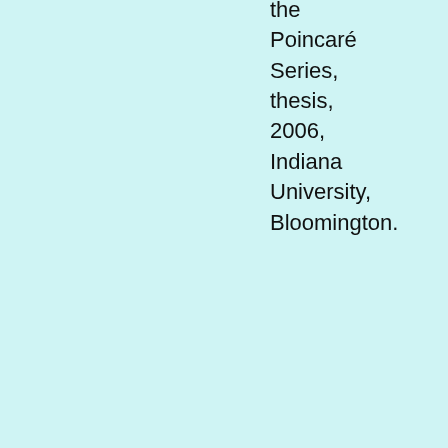the Poincaré Series, thesis, 2006, Indiana University, Bloomington.
309. Saturation and Castelnuovo-Mumford regularity, by I. Bermejo and Ph. Gimenez, Journal of Algebra 303 (2006) 592-617.